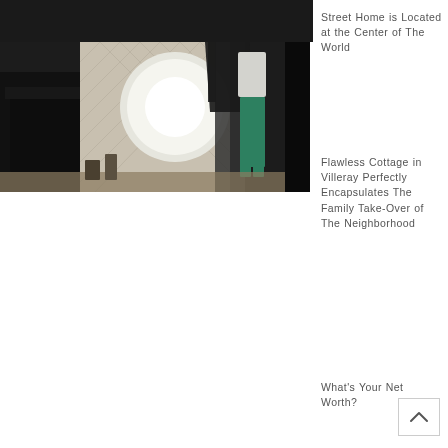[Figure (photo): Indoor photo showing a room with photography lighting equipment, reflectors, a person standing in teal/green pants, wallpaper with diamond pattern, and dark furniture. Scene appears to be a photo shoot setup inside a home.]
Street Home is Located at the Center of The World
Flawless Cottage in Villeray Perfectly Encapsulates The Family Take-Over of The Neighborhood
What's Your Net Worth?